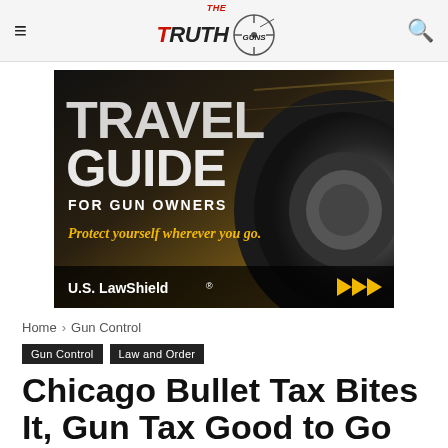The Truth About Guns
[Figure (illustration): Travel Guide for Gun Owners advertisement by U.S. LawShield. Dark background with a car tire in motion. Text reads: TRAVEL GUIDE FOR GUN OWNERS / Protect yourself wherever you go. / U.S. LawShield (with forward arrows icon).]
Home › Gun Control
Gun Control   Law and Order
Chicago Bullet Tax Bites It, Gun Tax Good to Go